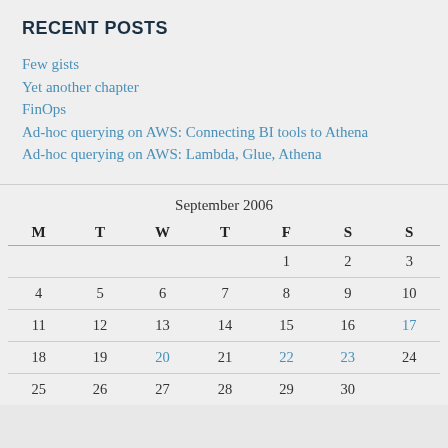RECENT POSTS
Few gists
Yet another chapter
FinOps
Ad-hoc querying on AWS: Connecting BI tools to Athena
Ad-hoc querying on AWS: Lambda, Glue, Athena
| M | T | W | T | F | S | S |
| --- | --- | --- | --- | --- | --- | --- |
|  |  |  |  | 1 | 2 | 3 |
| 4 | 5 | 6 | 7 | 8 | 9 | 10 |
| 11 | 12 | 13 | 14 | 15 | 16 | 17 |
| 18 | 19 | 20 | 21 | 22 | 23 | 24 |
| 25 | 26 | 27 | 28 | 29 | 30 |  |